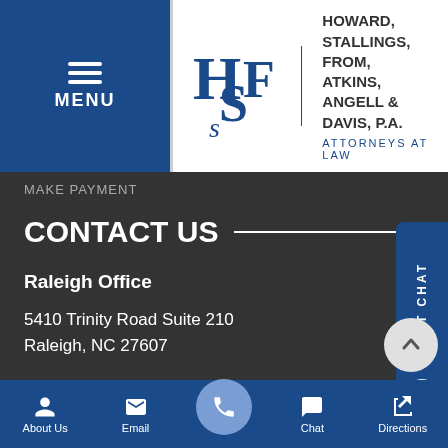[Figure (logo): Howard, Stallings, From, Atkins, Angell & Davis, P.A. law firm logo with HSF monogram and text 'Attorneys at Law']
MAKE PAYMENT
CONTACT US
Raleigh Office
5410 Trinity Road Suite 210
Raleigh, NC 27607
Phone: 919-821-7700
Fax: 919-821-7703
Get directions →
New Bern Office
About Us   Email   [Phone]   Chat   Directions